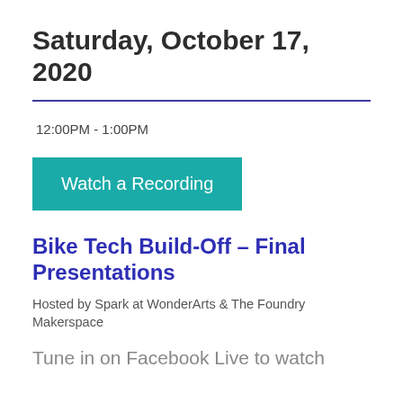Saturday, October 17, 2020
12:00PM - 1:00PM
Watch a Recording
Bike Tech Build-Off – Final Presentations
Hosted by Spark at WonderArts & The Foundry Makerspace
Tune in on Facebook Live to watch